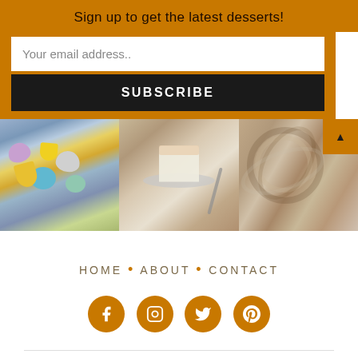Sign up to get the latest desserts!
Your email address..
SUBSCRIBE
[Figure (photo): Three food photos in a horizontal strip: colorful Easter cookies with tulips, a slice of cake/cheesecake on a plate, and a swirled chocolate caramel dessert]
HOME • ABOUT • CONTACT
[Figure (infographic): Four orange circle social media icons: Facebook, Instagram, Twitter, Pinterest]
Copyright © 2022 Crisp and Crumble — Cookely Theme by WPZOOM